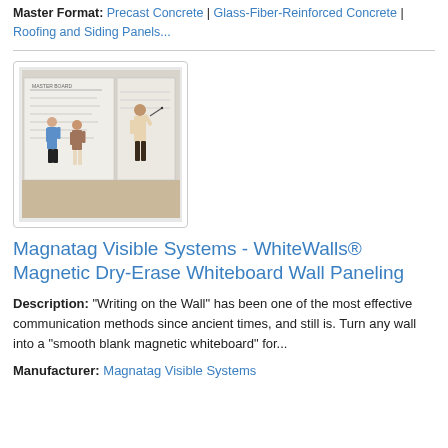Master Format: Precast Concrete | Glass-Fiber-Reinforced Concrete | Roofing and Siding Panels...
[Figure (photo): Photo of three people writing and interacting with a large magnetic whiteboard wall panel in an office setting.]
Magnatag Visible Systems - WhiteWalls® Magnetic Dry-Erase Whiteboard Wall Paneling
Description: "Writing on the Wall" has been one of the most effective communication methods since ancient times, and still is. Turn any wall into a "smooth blank magnetic whiteboard" for...
Manufacturer: Magnatag Visible Systems